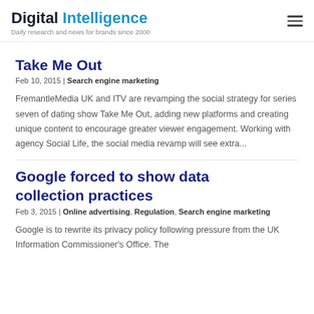Digital Intelligence — Daily research and news for brands since 2000
Take Me Out
Feb 10, 2015 | Search engine marketing
FremantleMedia UK and ITV are revamping the social strategy for series seven of dating show Take Me Out, adding new platforms and creating unique content to encourage greater viewer engagement. Working with agency Social Life, the social media revamp will see extra...
Google forced to show data collection practices
Feb 3, 2015 | Online advertising, Regulation, Search engine marketing
Google is to rewrite its privacy policy following pressure from the UK Information Commissioner's Office. The